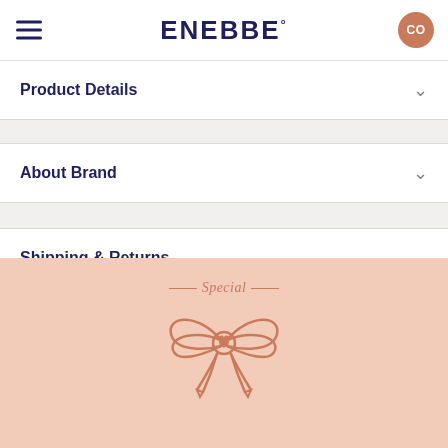ENEBBE°
Product Details
About Brand
Shipping & Returns
[Figure (logo): Special text with decorative bow/ribbon icon with heart in pink/salmon color on light pink background]